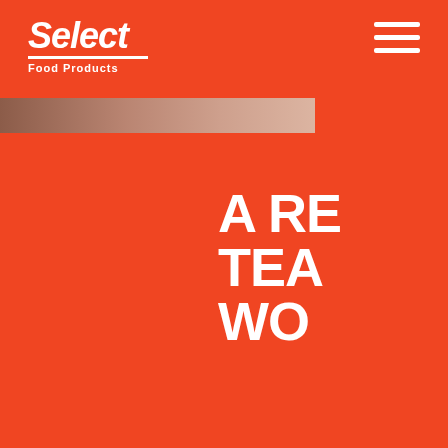[Figure (logo): Select Food Products logo with italic white text, underline, and 'Food Products' subtitle on orange background]
[Figure (photo): Partial photo strip showing a person, partially cropped at top left]
[Figure (other): Hamburger menu icon (three white horizontal lines) in top right corner]
A RE TEA WO
Each Se process what yo
Empow departm themsel Better e